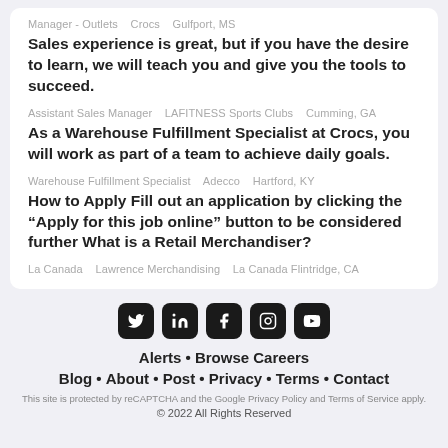Manager - Outlets   Crocs   Gulfport, MS
Sales experience is great, but if you have the desire to learn, we will teach you and give you the tools to succeed.
Assistant Sales Manager   LAFITNESS Sports Clubs   Cumming, GA
As a Warehouse Fulfillment Specialist at Crocs, you will work as part of a team to achieve daily goals.
Warehouse Fulfillment Specialist   Adecco   Hartford, KY
How to Apply Fill out an application by clicking the “Apply for this job online” button to be considered further What is a Retail Merchandiser?
La Canada   Lawrence Merchandising   La Canada Flintridge, CA
[Figure (other): Social media icons: Twitter, LinkedIn, Facebook, Instagram, YouTube]
Alerts • Browse Careers
Blog • About • Post • Privacy • Terms • Contact
This site is protected by reCAPTCHA and the Google Privacy Policy and Terms of Service apply.
© 2022 All Rights Reserved